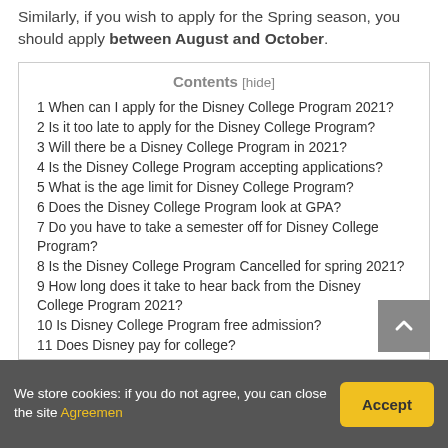Similarly, if you wish to apply for the Spring season, you should apply between August and October.
| Contents [hide] |
| --- |
| 1 When can I apply for the Disney College Program 2021? |
| 2 Is it too late to apply for the Disney College Program? |
| 3 Will there be a Disney College Program in 2021? |
| 4 Is the Disney College Program accepting applications? |
| 5 What is the age limit for Disney College Program? |
| 6 Does the Disney College Program look at GPA? |
| 7 Do you have to take a semester off for Disney College Program? |
| 8 Is the Disney College Program Cancelled for spring 2021? |
| 9 How long does it take to hear back from the Disney College Program 2021? |
| 10 Is Disney College Program free admission? |
| 11 Does Disney pay for college? |
| 12 Is the Disney College Program worth it? |
| 13 Does the Disney College Program require the... |
We store cookies: if you do not agree, you can close the site Agreemen
Accept